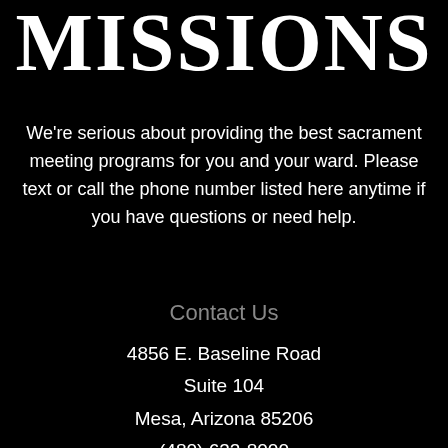MISSIONS
We're serious about providing the best sacrament meeting programs for you and your ward. Please text or call the phone number listed here anytime if you have questions or need help.
Contact Us
4856 E. Baseline Road
Suite 104
Mesa, Arizona 85206
(480) 633-8000